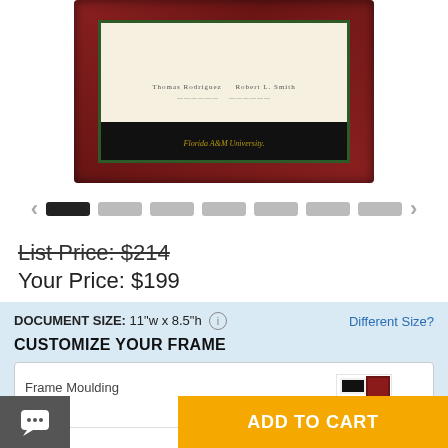[Figure (photo): Florida A&M University diploma frame product image showing a dark cherry/mahogany wooden frame with green mat border and cream diploma area, with university name in gold text on black band at bottom]
[Figure (other): Image carousel navigation with left/right arrows and 7 indicator dots, first dot is black (active), rest are gray]
List Price: $214
Your Price: $199
DOCUMENT SIZE: 11"w x 8.5"h   Different Size?
CUSTOMIZE YOUR FRAME
| Option | Selection | Thumbnail | Action |
| --- | --- | --- | --- |
| Frame Moulding | Sutton | [frame swatch] | v |
| Matting | Black / Tartan Green | [mat swatch] | v |
| Glass | Standard |  | v |